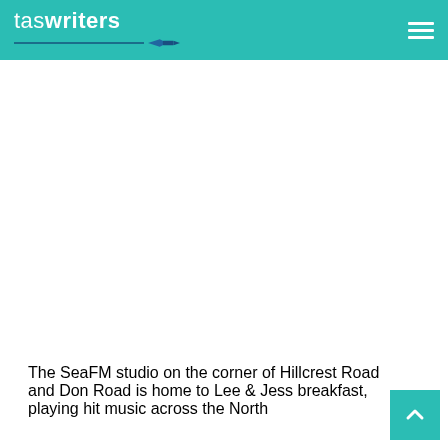taswriters
[Figure (photo): Large white/blank image area below the header]
The SeaFM studio on the corner of Hillcrest Road and Don Road is home to Lee & Jess breakfast, playing hit music across the North